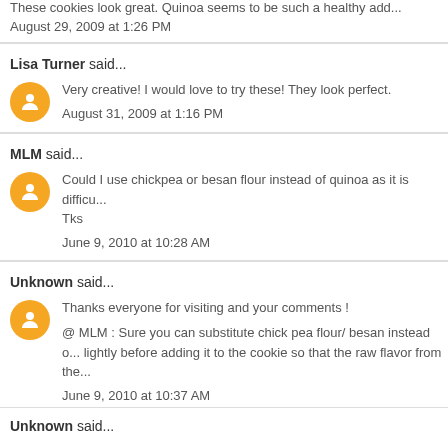These cookies look great. Quinoa seems to be such a healthy add...
August 29, 2009 at 1:26 PM
Lisa Turner said...
Very creative! I would love to try these! They look perfect.
August 31, 2009 at 1:16 PM
MLM said...
Could I use chickpea or besan flour instead of quinoa as it is difficu... Tks
June 9, 2010 at 10:28 AM
Unknown said...
Thanks everyone for visiting and your comments !
@ MLM : Sure you can substitute chick pea flour/ besan instead o... lightly before adding it to the cookie so that the raw flavor from the...
June 9, 2010 at 10:37 AM
Unknown said...